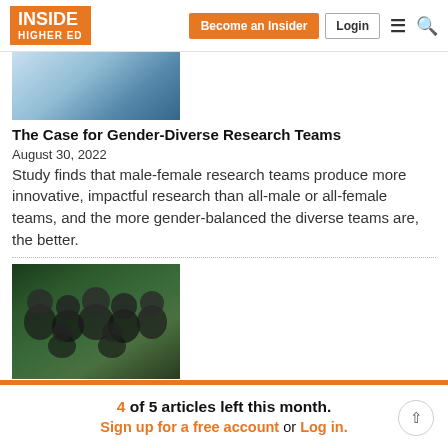INSIDE HIGHER ED | Become an Insider | Login
[Figure (photo): Partial photo of people, cropped at top, appearing to show medical/research context]
The Case for Gender-Diverse Research Teams
August 30, 2022
Study finds that male-female research teams produce more innovative, impactful research than all-male or all-female teams, and the more gender-balanced the diverse teams are, the better.
[Figure (photo): Group photo of six young Black students/people smiling, wearing black shirts, outdoors with green foliage background]
4 of 5 articles left this month.
Sign up for a free account or Log in.